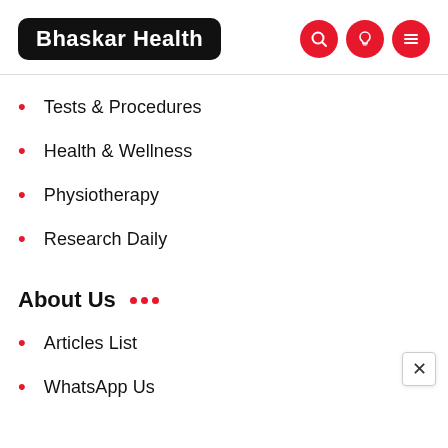Bhaskar Health
Tests & Procedures
Health & Wellness
Physiotherapy
Research Daily
About Us
Articles List
WhatsApp Us